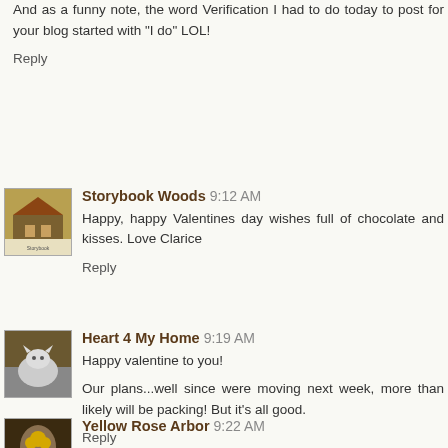And as a funny note, the word Verification I had to do today to post for your blog started with "I do" LOL!
Reply
Storybook Woods  9:12 AM
Happy, happy Valentines day wishes full of chocolate and kisses. Love Clarice
Reply
Heart 4 My Home  9:19 AM
Happy valentine to you!
Our plans...well since were moving next week, more than likely will be packing! But it's all good.
Reply
Yellow Rose Arbor  9:22 AM